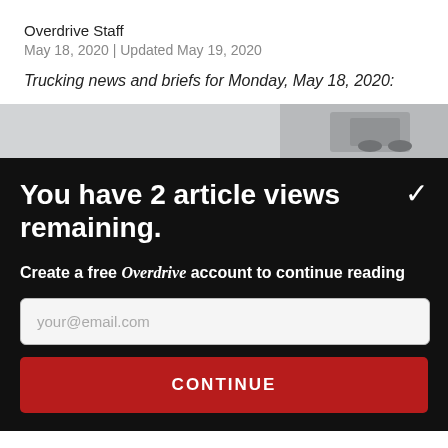Overdrive Staff
May 18, 2020 | Updated May 19, 2020
Trucking news and briefs for Monday, May 18, 2020:
[Figure (photo): Partial photograph of a truck/vehicle, partially visible at top of paywall overlay]
You have 2 article views remaining.
Create a free Overdrive account to continue reading
your@email.com
CONTINUE